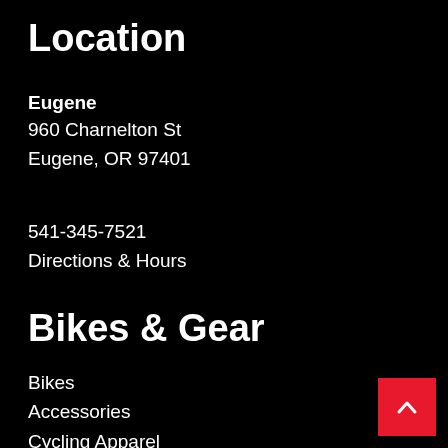Location
Eugene
960 Charnelton St
Eugene, OR 97401
541-345-7521
Directions & Hours
Bikes & Gear
Bikes
Accessories
Cycling Apparel
Car Racks
Components